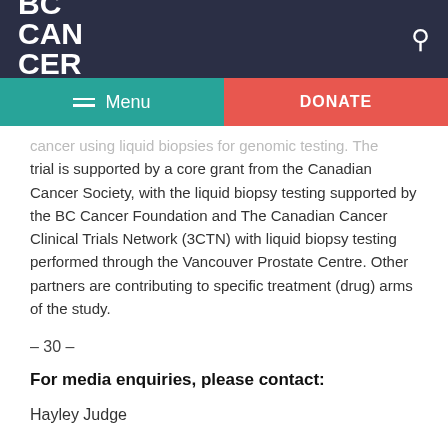BC CANCER FOUNDATION
cancer using liquid biopsies for genomic testing. The trial is supported by a core grant from the Canadian Cancer Society, with the liquid biopsy testing supported by the BC Cancer Foundation and The Canadian Cancer Clinical Trials Network (3CTN) with liquid biopsy testing performed through the Vancouver Prostate Centre. Other partners are contributing to specific treatment (drug) arms of the study.
– 30 –
For media enquiries, please contact:
Hayley Judge